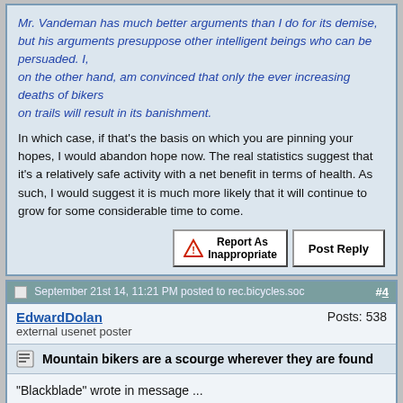Mr. Vandeman has much better arguments than I do for its demise, but his arguments presuppose other intelligent beings who can be persuaded. I, on the other hand, am convinced that only the ever increasing deaths of bikers on trails will result in its banishment.
In which case, if that's the basis on which you are pinning your hopes, I would abandon hope now. The real statistics suggest that it's a relatively safe activity with a net benefit in terms of health. As such, I would suggest it is much more likely that it will continue to grow for some considerable time to come.
Report As Inappropriate   Post Reply
September 21st 14, 11:21 PM posted to rec.bicycles.soc #4
EdwardDolan   Posts: 538
external usenet poster
Mountain bikers are a scourge wherever they are found
"Blackblade" wrote in message ...
[...]